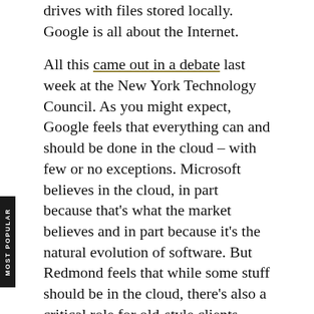drives with files stored locally. Google is all about the Internet.
All this came out in a debate last week at the New York Technology Council. As you might expect, Google feels that everything can and should be done in the cloud – with few or no exceptions. Microsoft believes in the cloud, in part because that's what the market believes and in part because it's the natural evolution of software. But Redmond feels that while some stuff should be in the cloud, there's also a critical role for old-style clients. Redmond sees a hybrid approach where data can be split between the two models and even synchronized.
Critics see self-interest powering both attitudes. Microsoft needs to protect its old base of products, while Google wants everything on the 'Net so it can index and sell ads against all this data.